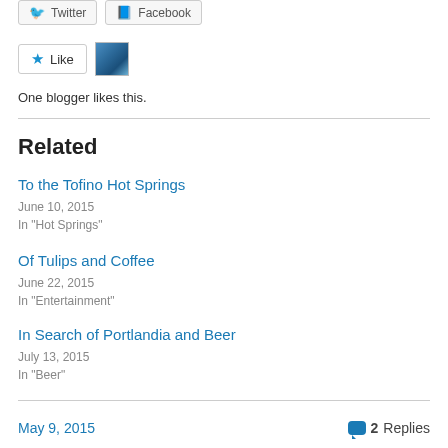[Figure (other): Social share buttons for Twitter and Facebook]
[Figure (other): Like button with star icon and blogger avatar thumbnail]
One blogger likes this.
Related
To the Tofino Hot Springs
June 10, 2015
In "Hot Springs"
Of Tulips and Coffee
June 22, 2015
In "Entertainment"
In Search of Portlandia and Beer
July 13, 2015
In "Beer"
May 9, 2015   2 Replies